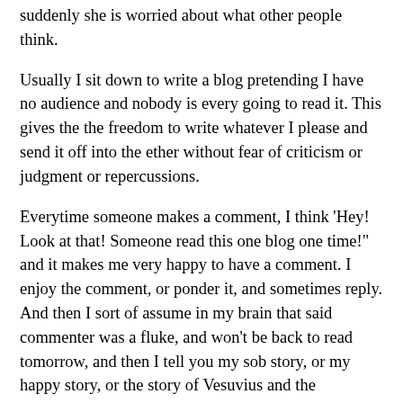suddenly she is worried about what other people think.
Usually I sit down to write a blog pretending I have no audience and nobody is every going to read it. This gives the the freedom to write whatever I please and send it off into the ether without fear of criticism or judgment or repercussions.
Everytime someone makes a comment, I think 'Hey! Look at that! Someone read this one blog one time!" and it makes me very happy to have a comment. I enjoy the comment, or ponder it, and sometimes reply. And then I sort of assume in my brain that said commenter was a fluke, and won't be back to read tomorrow, and then I tell you my sob story, or my happy story, or the story of Vesuvius and the Unhinged Jaws or what have you, happily and without any fear or expectation of you coming back tomorrow.
It's necessary, when you write, to convince yourself as much as possible that no one will ever be reading your words. We all know the consequences of writing for the preferences of an imagined audience rather than one's own spirit from the